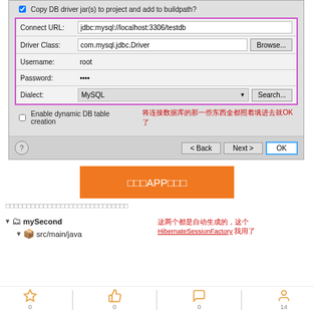[Figure (screenshot): Database connection configuration dialog with fields: Connect URL (jdbc:mysql://localhost:3306/testdb), Driver Class (com.mysql.jdbc.Driver) with Browse button, Username (root), Password (****), Dialect (MySQL) with Search button. Pink/purple border around form fields. Checkbox for Enable dynamic DB table creation. Red annotation text in Chinese. Back, Next, OK buttons at bottom.]
将连接数据库的那一些东西全都照着填进去就OK了
[Figure (screenshot): Orange button labeled with Chinese characters APP]
（灰色文字行，含中文字符）
mySecond / src/main/java
这两个都是自动生成的，这个 HibernateSessionFactory 我用了
0 0 0 14